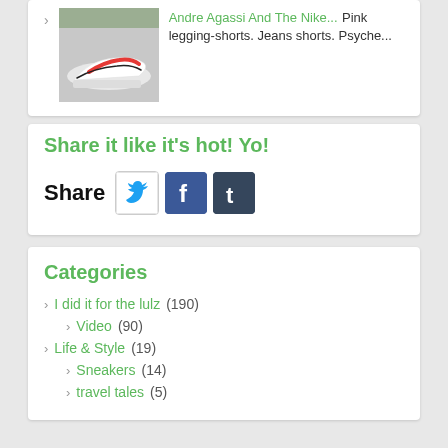Andre Agassi And The Nike... Pink legging-shorts. Jeans shorts. Psyche...
Share it like it's hot! Yo!
[Figure (infographic): Share buttons row: Share label followed by Twitter, Facebook, and Tumblr social media icons]
Categories
I did it for the lulz (190)
Video (90)
Life & Style (19)
Sneakers (14)
travel tales (5)